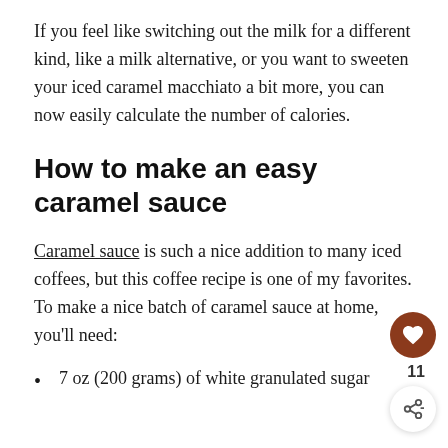If you feel like switching out the milk for a different kind, like a milk alternative, or you want to sweeten your iced caramel macchiato a bit more, you can now easily calculate the number of calories.
How to make an easy caramel sauce
Caramel sauce is such a nice addition to many iced coffees, but this coffee recipe is one of my favorites. To make a nice batch of caramel sauce at home, you’ll need:
7 oz (200 grams) of white granulated sugar